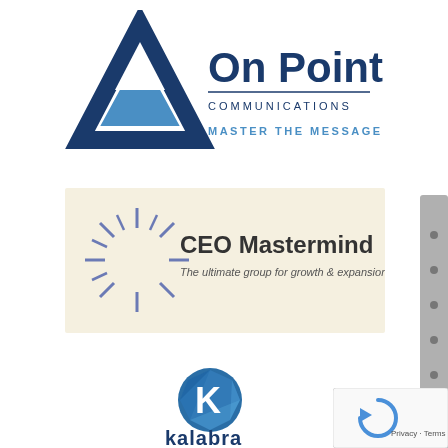[Figure (logo): On Point Communications logo with blue triangle/arrow shape on left and text 'On Point Communications - Master the Message' on right]
[Figure (logo): CEO Mastermind logo on beige/cream background with starburst icon and text 'CEO Mastermind - The ultimate group for growth & expansion']
[Figure (logo): Kalabra logo with blue geometric/polygonal K in circle above text 'kalabra']
[Figure (other): Scrollbar UI element on right side of page]
[Figure (other): reCAPTCHA widget in bottom right corner with 'Privacy - Terms' text]